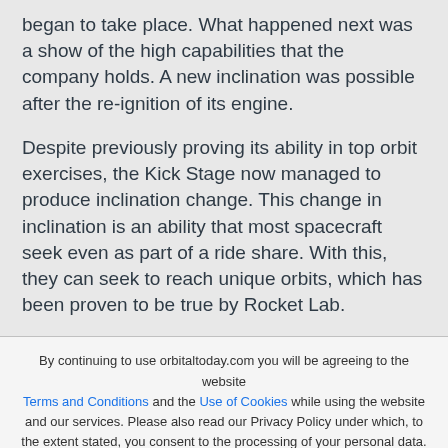began to take place. What happened next was a show of the high capabilities that the company holds. A new inclination was possible after the re-ignition of its engine.
Despite previously proving its ability in top orbit exercises, the Kick Stage now managed to produce inclination change. This change in inclination is an ability that most spacecraft seek even as part of a ride share. With this, they can seek to reach unique orbits, which has been proven to be true by Rocket Lab.
By continuing to use orbitaltoday.com you will be agreeing to the website Terms and Conditions and the Use of Cookies while using the website and our services. Please also read our Privacy Policy under which, to the extent stated, you consent to the processing of your personal data.